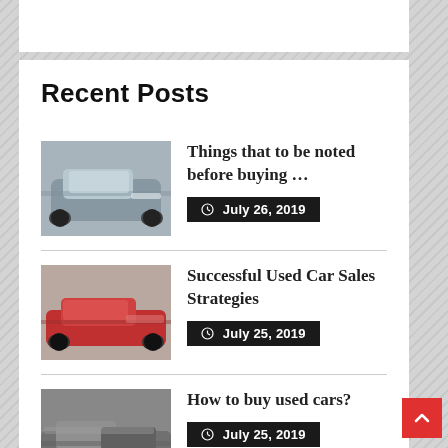Recent Posts
Things that to be noted before buying ... | July 26, 2019
Successful Used Car Sales Strategies | July 25, 2019
How to buy used cars? | July 25, 2019
A Thorough Guide To Buy An Automatic ...